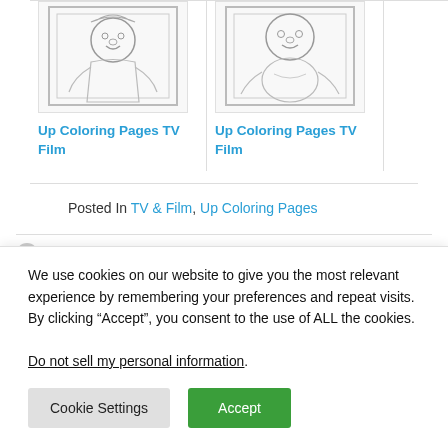[Figure (illustration): Coloring page illustration - cartoon character from Up movie]
Up Coloring Pages TV Film
[Figure (illustration): Coloring page illustration - cartoon character from Up movie]
Up Coloring Pages TV Film
Posted In TV & Film, Up Coloring Pages
Up Coloring Pages TV
Up Coloring Pages TV Film
We use cookies on our website to give you the most relevant experience by remembering your preferences and repeat visits. By clicking “Accept”, you consent to the use of ALL the cookies.
Do not sell my personal information.
Cookie Settings
Accept